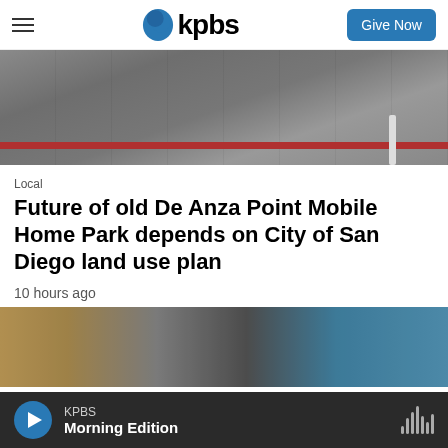kpbs | Give Now
[Figure (photo): Cracked asphalt parking lot with a red curb strip and a white post, taken at De Anza Point Mobile Home Park]
Local
Future of old De Anza Point Mobile Home Park depends on City of San Diego land use plan
10 hours ago
[Figure (photo): Interior room with artwork on walls and a person visible in the background]
KPBS | Morning Edition (audio player bar)